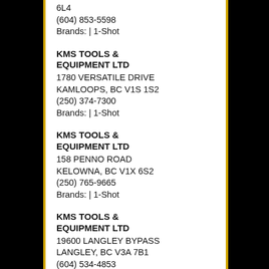6L4
(604) 853-5598
Brands: | 1-Shot
KMS TOOLS & EQUIPMENT LTD
1780 VERSATILE DRIVE
KAMLOOPS, BC V1S 1S2
(250) 374-7300
Brands: | 1-Shot
KMS TOOLS & EQUIPMENT LTD
158 PENNO ROAD
KELOWNA, BC V1X 6S2
(250) 765-9665
Brands: | 1-Shot
KMS TOOLS & EQUIPMENT LTD
19600 LANGLEY BYPASS
LANGLEY, BC V3A 7B1
(604) 534-4853
Brands: | 1-Shot
KMS TOOLS &